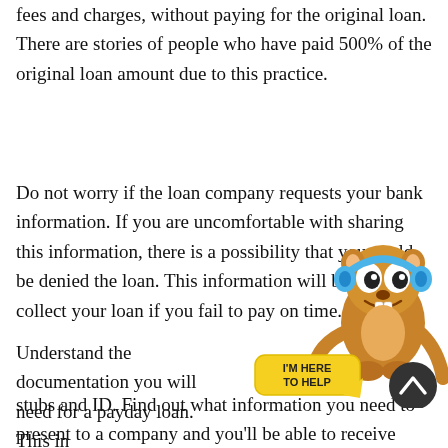fees and charges, without paying for the original loan. There are stories of people who have paid 500% of the original loan amount due to this practice.
Do not worry if the loan company requests your bank information. If you are uncomfortable with sharing this information, there is a possibility that you could be denied the loan. This information will be needed to collect your loan if you fail to pay on time.
Understand the documentation you will need for a payday loan. This in... stubs and ID. Find out what information you need to present to a company and you'll be able to receive your loan in a quicker
[Figure (illustration): Cartoon beaver/gopher mascot wearing blue headphones, with arms raised, next to a yellow speech bubble saying 'I'M HERE TO HELP' and a dark circular scroll-to-top button with an upward chevron.]